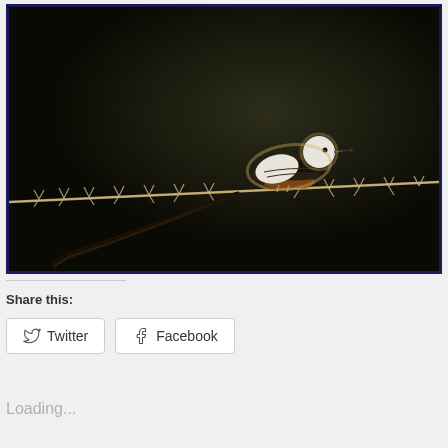[Figure (photo): A bird perched on a barbed wire fence against a dark background. The bird has a white head and chest with dark wings and a long tail. The photo is backlit showing detail of the barbed wire.]
Share this:
Twitter
Facebook
Loading...